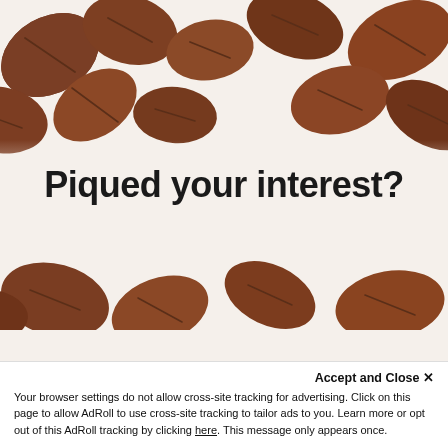[Figure (photo): Coffee beans arranged as a decorative border along the top and bottom of the page on a light cream/white background]
Piqued your interest?
Accept and Close ✕
Your browser settings do not allow cross-site tracking for advertising. Click on this page to allow AdRoll to use cross-site tracking to tailor ads to you. Learn more or opt out of this AdRoll tracking by clicking here. This message only appears once.